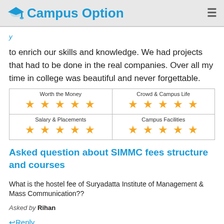Campus Option
to enrich our skills and knowledge. We had projects that had to be done in the real companies. Over all my time in college was beautiful and never forgettable.
| Worth the Money | Crowd & Campus Life | Salary & Placements | Campus Facilities |
| --- | --- | --- | --- |
| ★★★★★ | ★★★★★ |
| ★★★★★ | ★★★★★ |
Asked question about SIMMC fees structure and courses
What is the hostel fee of Suryadatta Institute of Management & Mass Communication??
Asked by Rihan
↩Reply